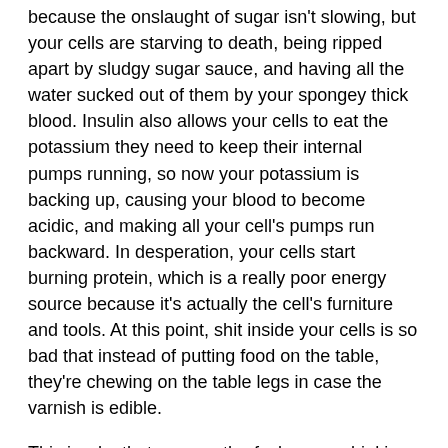because the onslaught of sugar isn't slowing, but your cells are starving to death, being ripped apart by sludgy sugar sauce, and having all the water sucked out of them by your spongey thick blood. Insulin also allows your cells to eat the potassium they need to keep their internal pumps running, so now your potassium is backing up, causing your blood to become acidic, and making all your cell's pumps run backward. In desperation, your cells start burning protein, which is a really poor energy source because it's actually the cell's furniture and tools. At this point, shit inside your cells is so bad that instead of putting food on the table, they're chewing on the table legs in case the varnish is edible.
This is why that poor motherfucker was drinking sugar syrup. He was literally starving to death.
Many diabetics think they have low blood sugar right up until they realize their blood sugar is actually high—their cells just can't eat any of it.
Broken-down proteins and fats produce ketones. Starving cells produce lactic acid. Between those two and all the extra